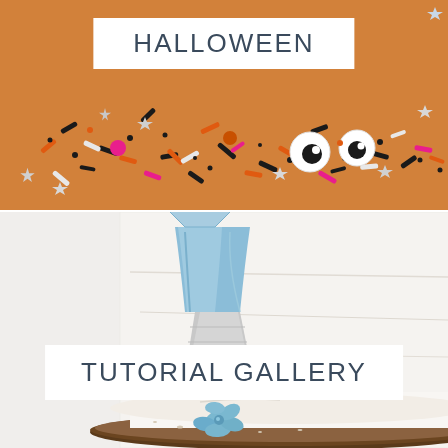[Figure (photo): Top half: orange background with Halloween sprinkles scattered — black, orange, pink, white star shapes, candy eyes, and colorful sprinkles. White box overlay with 'HALLOWEEN' text label.]
HALLOWEEN
[Figure (photo): Bottom half: close-up of a white frosted cake being decorated with a blue piping bag and metal piping tip, with a small blue rosette of frosting at the base. White box overlay with 'TUTORIAL GALLERY' text label.]
TUTORIAL GALLERY